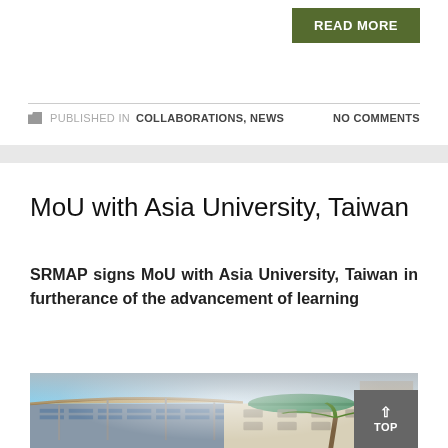READ MORE
PUBLISHED IN COLLABORATIONS, NEWS    NO COMMENTS
MoU with Asia University, Taiwan
SRMAP signs MoU with Asia University, Taiwan in furtherance of the advancement of learning
[Figure (photo): Composite photo showing Asia University Taiwan modern building with canopy on the left and a classical building with green dome and palm trees on the right]